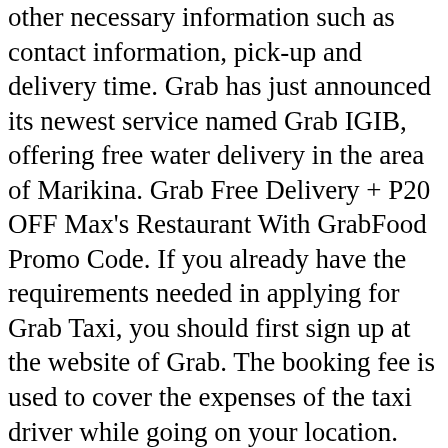other necessary information such as contact information, pick-up and delivery time. Grab has just announced its newest service named Grab IGIB, offering free water delivery in the area of Marikina. Grab Free Delivery + P20 OFF Max's Restaurant With GrabFood Promo Code. If you already have the requirements needed in applying for Grab Taxi, you should first sign up at the website of Grab. The booking fee is used to cover the expenses of the taxi driver while going on your location. Vietnam. WHAT IS GRAB? The only letdown for booze lovers is that GrabFood doesn't allow delivery of alcoholic drinks. MOVE IT wallet (for delivery fee payment only) and cash: MrSpeedy Pabili Service: Metro Manila: Cash: MyKuya App: Metro Manila and select areas in Mega Manila: Cash, credit/debit/prepaid card (Mastercard/Visa), GCash : 6 Pabili Service Apps in the Philippines. Grabfood Coupon Code - Receive P50 Discount On Ordering From Red Ribbon, Minimum Spend P700. It is premium delivery service that Grab is currently running to provide convenience to their customers. Yellow Cab Pizza - Espana [Available for LONG-DISTANCE DELIVERY] American, Pizza, Bread Dishes With Happy Bea burgers illo at the